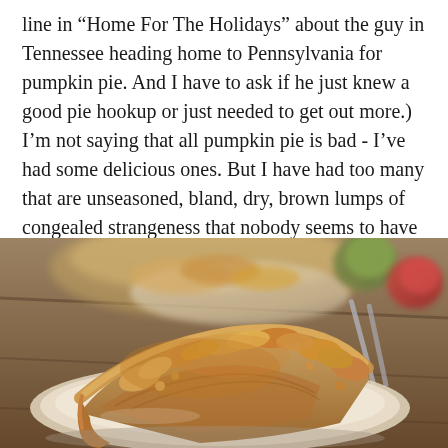line in “Home For The Holidays” about the guy in Tennessee heading home to Pennsylvania for pumpkin pie. And I have to ask if he just knew a good pie hookup or just needed to get out more.) I’m not saying that all pumpkin pie is bad - I’ve had some delicious ones. But I have had too many that are unseasoned, bland, dry, brown lumps of congealed strangeness that nobody seems to have loved before foisting on the world. And you can’t untaste that.
[Figure (photo): Close-up photo of a slice of apple pie with lattice crust and cinnamon sugar topping on a plate, with another pie and an apple in the background.]